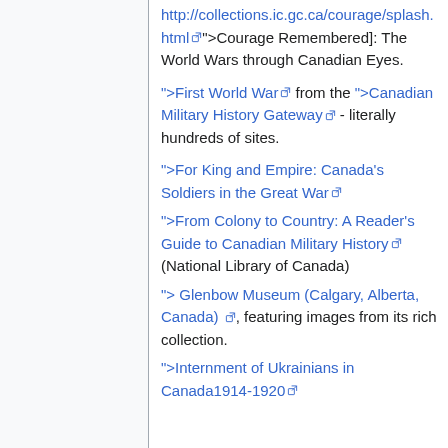http://collections.ic.gc.ca/courage/splash.html">Courage Remembered]: The World Wars through Canadian Eyes.
">First World War from the ">Canadian Military History Gateway - literally hundreds of sites.
">For King and Empire: Canada's Soldiers in the Great War
">From Colony to Country: A Reader's Guide to Canadian Military History (National Library of Canada)
">> Glenbow Museum (Calgary, Alberta, Canada), featuring images from its rich collection.
">Internment of Ukrainians in Canada1914-1920